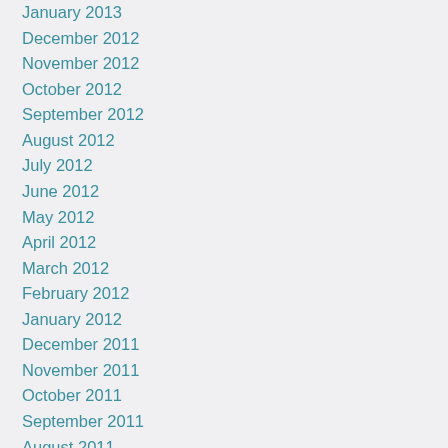January 2013
December 2012
November 2012
October 2012
September 2012
August 2012
July 2012
June 2012
May 2012
April 2012
March 2012
February 2012
January 2012
December 2011
November 2011
October 2011
September 2011
August 2011
July 2011
June 2011
May 2011
April 2011